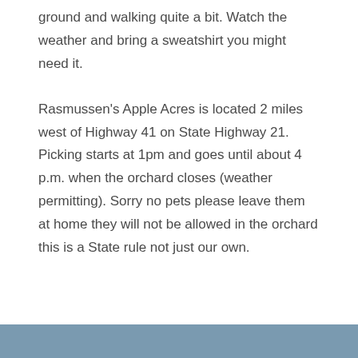ground and walking quite a bit. Watch the weather and bring a sweatshirt you might need it.
Rasmussen's Apple Acres is located 2 miles west of Highway 41 on State Highway 21. Picking starts at 1pm and goes until about 4 p.m. when the orchard closes (weather permitting). Sorry no pets please leave them at home they will not be allowed in the orchard this is a State rule not just our own.